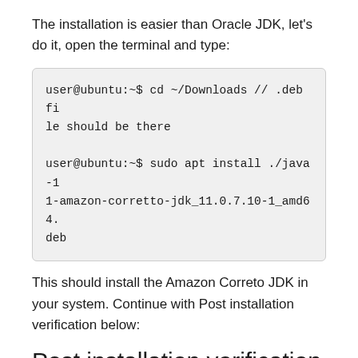The installation is easier than Oracle JDK, let's do it, open the terminal and type:
user@ubuntu:~$ cd ~/Downloads // .deb file should be there

user@ubuntu:~$ sudo apt install ./java-11-amazon-corretto-jdk_11.0.7.10-1_amd64.deb
This should install the Amazon Correto JDK in your system. Continue with Post installation verification below:
Post installation verification
Now after JDK installation is completed we need to verify that everything works: